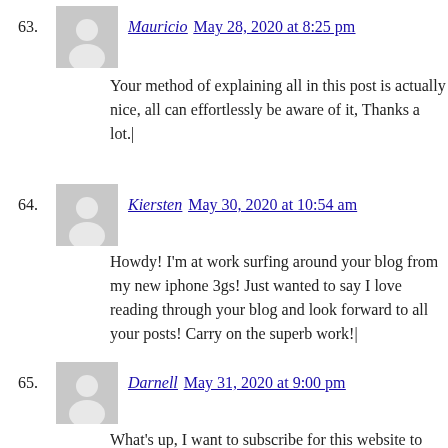63. Mauricio May 28, 2020 at 8:25 pm
Your method of explaining all in this post is actually nice, all can effortlessly be aware of it, Thanks a lot.|
64. Kiersten May 30, 2020 at 10:54 am
Howdy! I'm at work surfing around your blog from my new iphone 3gs! Just wanted to say I love reading through your blog and look forward to all your posts! Carry on the superb work!|
65. Darnell May 31, 2020 at 9:00 pm
What's up, I want to subscribe for this website to